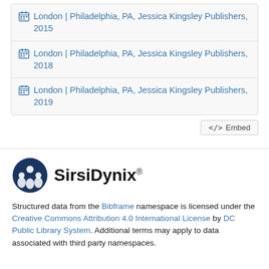London | Philadelphia, PA, Jessica Kingsley Publishers, 2015
London | Philadelphia, PA, Jessica Kingsley Publishers, 2018
London | Philadelphia, PA, Jessica Kingsley Publishers, 2019
Embed
[Figure (logo): SirsiDynix logo with circular dark blue emblem and company name]
Structured data from the Bibframe namespace is licensed under the Creative Commons Attribution 4.0 International License by DC Public Library System. Additional terms may apply to data associated with third party namespaces.